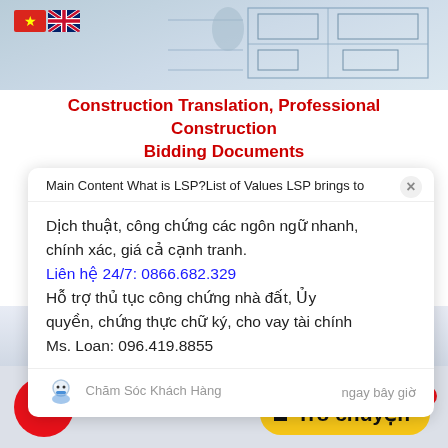[Figure (screenshot): Top banner image showing blueprint drawings and a phone, with Vietnamese and UK flags in top-left corner]
Construction Translation, Professional Construction Bidding Documents
Main Content What is LSP?List of Values LSP brings to
Dịch thuật, công chứng các ngôn ngữ nhanh, chính xác, giá cả cạnh tranh.
Liên hệ 24/7: 0866.682.329
Hỗ trợ thủ tục công chứng nhà đất, Ủy quyền, chứng thực chữ ký, cho vay tài chính
Ms. Loan: 096.419.8855
Chăm Sóc Khách Hàng    ngay bây giờ
[Figure (infographic): Bottom area with red phone call button, yellow Trò chuyện (Chat) button with badge showing 1, and background office imagery]